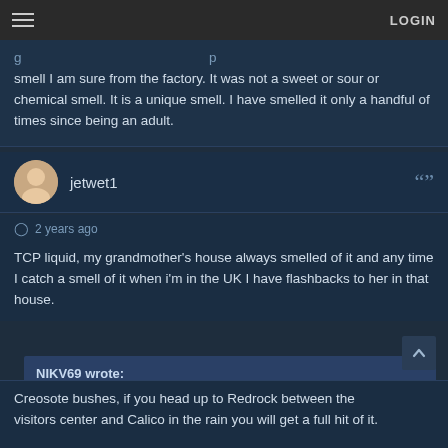LOGIN
smell I am sure from the factory. It was not a sweet or sour or chemical smell. It is a unique smell. I have smelled it only a handful of times since being an adult.
jetwet1
2 years ago
TCP liquid, my grandmother's house always smelled of it and any time I catch a smell of it when i'm in the UK I have flashbacks to her in that house.
NIKV69 wrote:
When it rains in the desert here in Nevada (like today) you get this unique smell that is so awesome. I love it
Creosote bushes, if you head up to Redrock between the visitors center and Calico in the rain you will get a full hit of it.